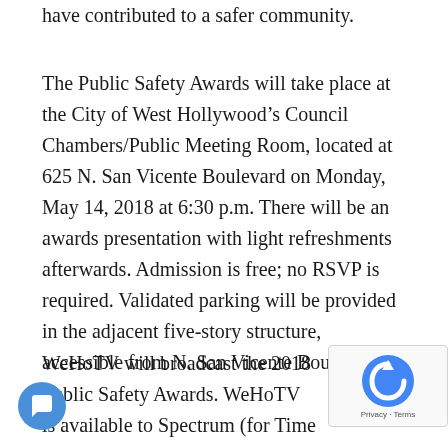have contributed to a safer community.
The Public Safety Awards will take place at the City of West Hollywood's Council Chambers/Public Meeting Room, located at 625 N. San Vicente Boulevard on Monday, May 14, 2018 at 6:30 p.m. There will be an awards presentation with light refreshments afterwards. Admission is free; no RSVP is required. Validated parking will be provided in the adjacent five-story structure, accessible from N. San Vicente Boulevard.
WeHoTV will broadcast the 2018 Public Safety Awards. WeHoTV is available to Spectrum (for Time Warner Cable) customers within the City of West Hollywood on channel 10. AT&T U-verse customers across Southern California can access